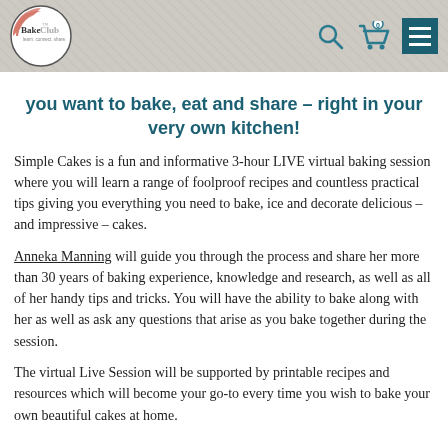Bake Club™ — learn. connect. share.
you want to bake, eat and share – right in your very own kitchen!
Simple Cakes is a fun and informative 3-hour LIVE virtual baking session where you will learn a range of foolproof recipes and countless practical tips giving you everything you need to bake, ice and decorate delicious – and impressive – cakes.
Anneka Manning will guide you through the process and share her more than 30 years of baking experience, knowledge and research, as well as all of her handy tips and tricks. You will have the ability to bake along with her as well as ask any questions that arise as you bake together during the session.
The virtual Live Session will be supported by printable recipes and resources which will become your go-to every time you wish to bake your own beautiful cakes at home.